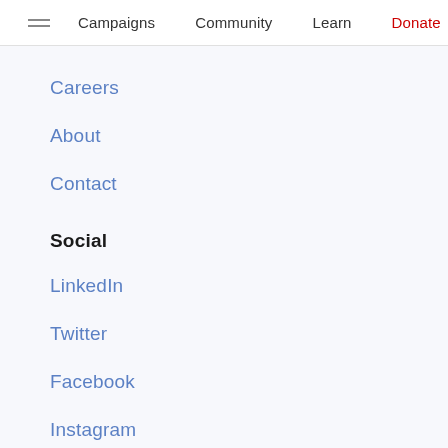Campaigns  Community  Learn  Donate
Careers
About
Contact
Social
LinkedIn
Twitter
Facebook
Instagram